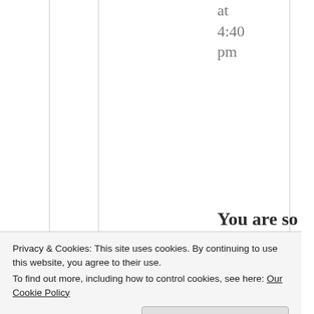at 4:40 pm
You are so right, there is no distance in our
Privacy & Cookies: This site uses cookies. By continuing to use this website, you agree to their use.
To find out more, including how to control cookies, see here: Our Cookie Policy
Close and accept
our pain,